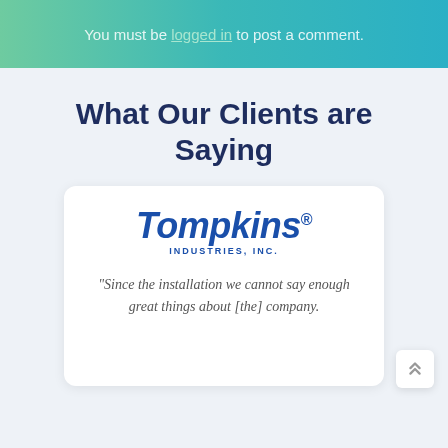You must be logged in to post a comment.
What Our Clients are Saying
[Figure (logo): Tompkins Industries, Inc. company logo in blue italic bold text]
"Since the installation we cannot say enough great things about [the] company.